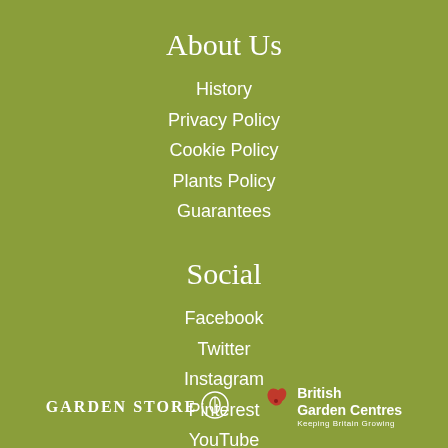About Us
History
Privacy Policy
Cookie Policy
Plants Policy
Guarantees
Social
Facebook
Twitter
Instagram
Pinterest
YouTube
[Figure (logo): Garden Store logo with circular plant icon, white text on olive green background]
[Figure (logo): British Garden Centres logo with red butterfly, white text, tagline 'Keeping Britain Growing']